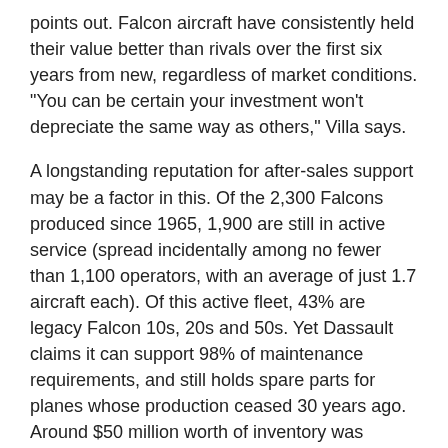points out. Falcon aircraft have consistently held their value better than rivals over the first six years from new, regardless of market conditions. "You can be certain your investment won't depreciate the same way as others," Villa says.
A longstanding reputation for after-sales support may be a factor in this. Of the 2,300 Falcons produced since 1965, 1,900 are still in active service (spread incidentally among no fewer than 1,100 operators, with an average of just 1.7 aircraft each). Of this active fleet, 43% are legacy Falcon 10s, 20s and 50s. Yet Dassault claims it can support 98% of maintenance requirements, and still holds spare parts for planes whose production ceased 30 years ago. Around $50 million worth of inventory was added in 2011, taking the total to $750 million.
Two-thirds of the installed Falcon fleet is based in North America, but there has been an inevitable eastward migration in recent years. Of 438 aircraft delivered since 2006, 54%